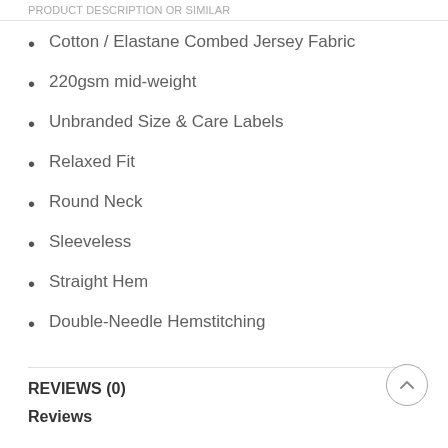PRODUCT DESCRIPTION OR SIMILAR
Cotton / Elastane Combed Jersey Fabric
220gsm mid-weight
Unbranded Size & Care Labels
Relaxed Fit
Round Neck
Sleeveless
Straight Hem
Double-Needle Hemstitching
REVIEWS (0)
Reviews